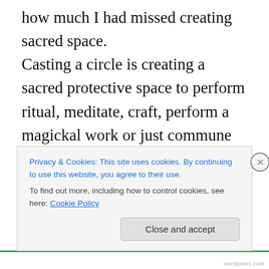how much I had missed creating sacred space. Casting a circle is creating a sacred protective space to perform ritual, meditate, craft, perform a magickal work or just commune with Spirit. For awhile I had questioned when it was necessary to cast a circle or even if it was necessary at all. After having created a sacred space, however, I understood that just being in that wonderful space was a valuable experience in itself. Not only are unwanted energies kept out of the space but some really amazingly beneficial energies are invited in. Not only are you protected, but the energies, entities, gods/goddesses
Privacy & Cookies: This site uses cookies. By continuing to use this website, you agree to their use.
To find out more, including how to control cookies, see here: Cookie Policy
Close and accept